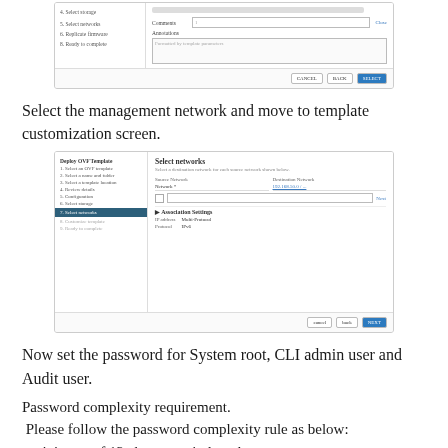[Figure (screenshot): Partial screenshot showing a VMware/vSphere OVF template deployment dialog with sidebar navigation steps and a form for selecting storage. Cropped at the top.]
Select the management network and move to template customization screen.
[Figure (screenshot): Screenshot of 'Deploy OVF Template' dialog showing 'Select networks' step. Left sidebar lists steps: 1 Select an OVF template, 2 Select a name and folder, 3 Select a template location, 4 Review details, 5 Configuration, 6 Select storage, 7 Select networks (active/highlighted), 8 Customize template, 9 Ready to complete. Right pane shows Source Network and Destination Network columns with a network entry and link highlighted in blue, a checkbox row, Association Settings section with Protocol (Multi-Protocol) and Address (IPv6) fields, and Cancel/Back/Next buttons at bottom.]
Now set the password for System root, CLI admin user and Audit user.
Password complexity requirement.
 Please follow the password complexity rule as below:
- minimum of 12 characters in length